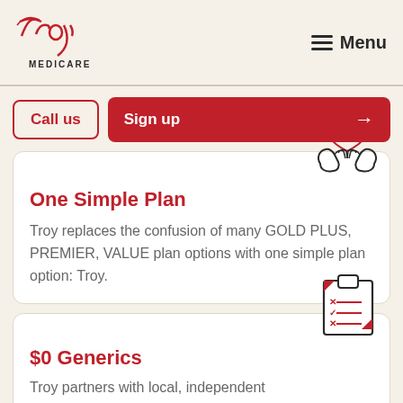[Figure (logo): Troy Medicare logo in red cursive script with MEDICARE text below]
Menu
Call us
Sign up →
[Figure (illustration): Two hands holding a heart icon illustration]
One Simple Plan
Troy replaces the confusion of many GOLD PLUS, PREMIER, VALUE plan options with one simple plan option: Troy.
[Figure (illustration): Clipboard with checklist icon showing x and check marks]
$0 Generics
Troy partners with local, independent